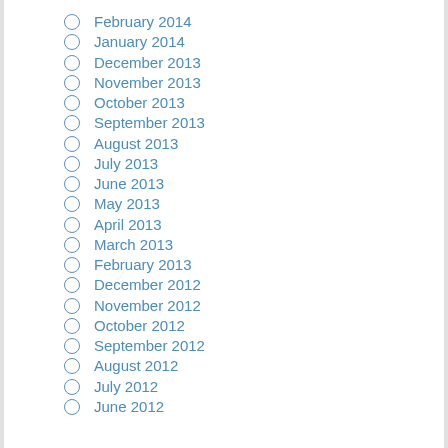February 2014
January 2014
December 2013
November 2013
October 2013
September 2013
August 2013
July 2013
June 2013
May 2013
April 2013
March 2013
February 2013
December 2012
November 2012
October 2012
September 2012
August 2012
July 2012
June 2012